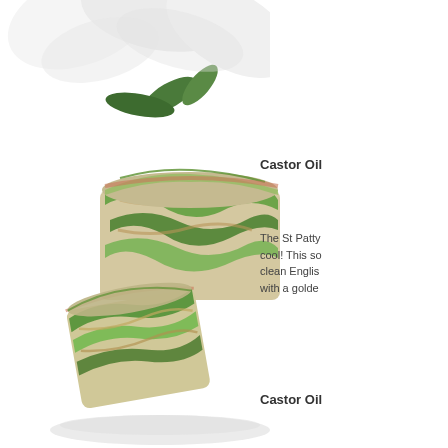[Figure (photo): White flower petals with green leaves at top of page, partially cropped]
[Figure (photo): Green and cream swirled handmade soap bars stacked together, with intricate spiral patterns in shades of green, beige, and tan]
Castor Oil
The St Patty... cool! This so... clean Englis... with a golde...
Castor Oil